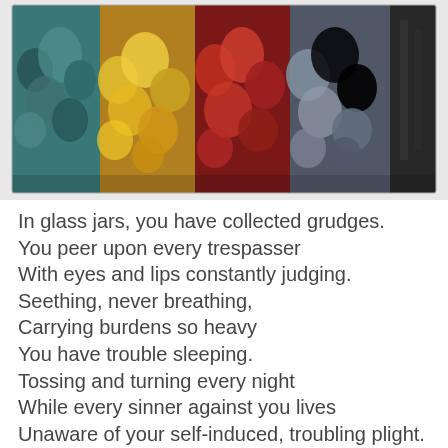[Figure (photo): Strip of four glass jars containing colored stones/pebbles: teal/green stones on left, yellow/orange stones, red stones, and blue-grey stones on right, with a dark wood panel on far right.]
In glass jars, you have collected grudges.
You peer upon every trespasser
With eyes and lips constantly judging.
Seething, never breathing,
Carrying burdens so heavy
You have trouble sleeping.
Tossing and turning every night
While every sinner against you lives
Unaware of your self-induced, troubling plight.
Within your heart, you carry the hurt that came
Along with their sins;
Evil stands beside you,
And bitterness is in your grip.